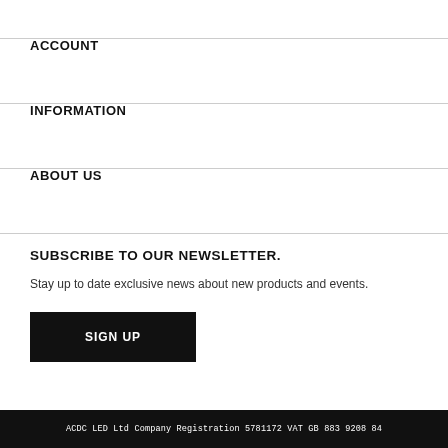ACCOUNT
INFORMATION
ABOUT US
SUBSCRIBE TO OUR NEWSLETTER.
Stay up to date exclusive news about new products and events.
SIGN UP
ACDC LED Ltd Company Registration 5781172 VAT GB 883 9208 84